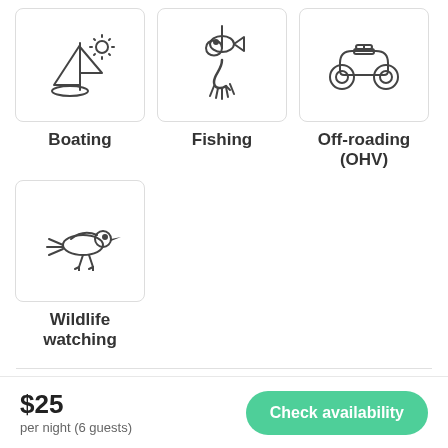[Figure (illustration): Boating icon: sailboat with sun]
Boating
[Figure (illustration): Fishing icon: fish on hook]
Fishing
[Figure (illustration): Off-roading icon: ATV/quad bike]
Off-roading (OHV)
[Figure (illustration): Wildlife watching icon: bird]
Wildlife watching
Terrain
$25
per night (6 guests)
Check availability